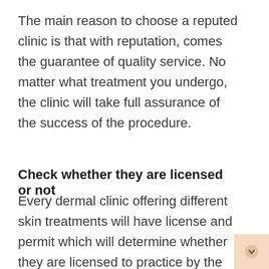The main reason to choose a reputed clinic is that with reputation, comes the guarantee of quality service. No matter what treatment you undergo, the clinic will take full assurance of the success of the procedure.
Check whether they are licensed or not
Every dermal clinic offering different skin treatments will have license and permit which will determine whether they are licensed to practice by the authorities. For a cosmetic clinic, the license will be issued both by the